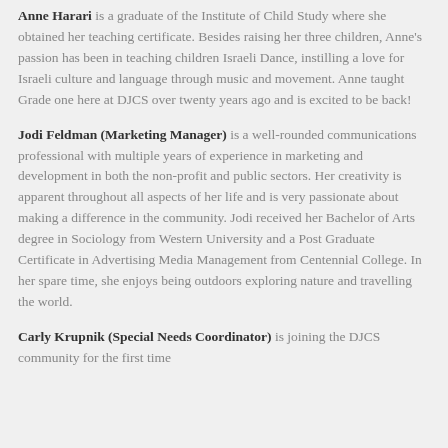Anne Harari is a graduate of the Institute of Child Study where she obtained her teaching certificate. Besides raising her three children, Anne's passion has been in teaching children Israeli Dance, instilling a love for Israeli culture and language through music and movement. Anne taught Grade one here at DJCS over twenty years ago and is excited to be back!
Jodi Feldman (Marketing Manager) is a well-rounded communications professional with multiple years of experience in marketing and development in both the non-profit and public sectors. Her creativity is apparent throughout all aspects of her life and is very passionate about making a difference in the community. Jodi received her Bachelor of Arts degree in Sociology from Western University and a Post Graduate Certificate in Advertising Media Management from Centennial College. In her spare time, she enjoys being outdoors exploring nature and travelling the world.
Carly Krupnik (Special Needs Coordinator) is joining the DJCS community for the first time